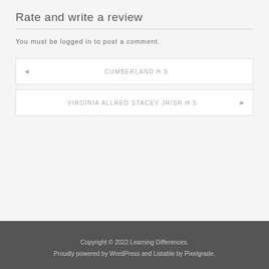Rate and write a review
You must be logged in to post a comment.
◄  CUMBERLAND H S
VIRGINIA ALLRED STACEY JR/SR H S  ►
Copyright © 2022 Learning Differences.
Proudly powered by WordPress and Listable by Pixelgrade.